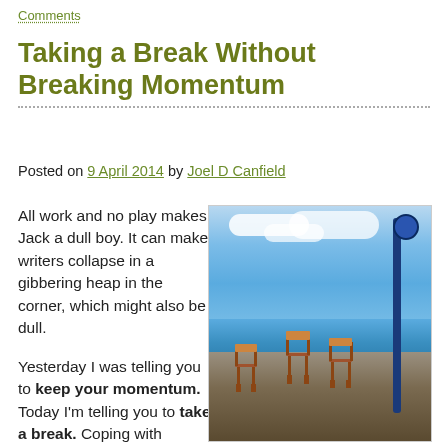Comments
Taking a Break Without Breaking Momentum
Posted on 9 April 2014 by Joel D Canfield
All work and no play makes Jack a dull boy. It can make writers collapse in a gibbering heap in the corner, which might also be dull.
[Figure (photo): Three wooden chairs on rocky coastal ground next to a blue lamppost, with ocean and blue sky in background]
Yesterday I was telling you to keep your momentum. Today I'm telling you to take a break. Coping with conflict is